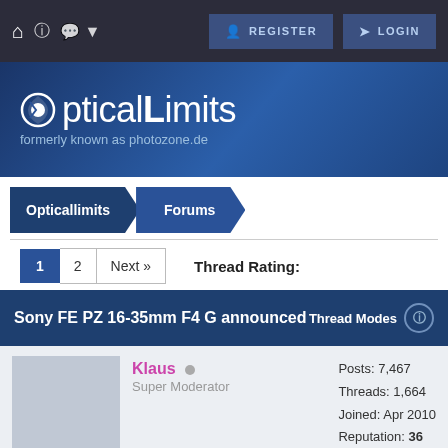Navigation bar with home, help, chat, REGISTER, LOGIN
[Figure (logo): OpticalLimits logo — formerly known as photozone.de — on blue gradient background]
Opticallimits › Forums
1 2 Next »   Thread Rating:
Sony FE PZ 16-35mm F4 G announced   Thread Modes
Klaus  Super Moderator   Posts: 7,467  Threads: 1,664  Joined: Apr 2010  Reputation: 36
03-22-2022, 02:58 AM (This post was last modified: 03-22-2022, 03:01 AM by